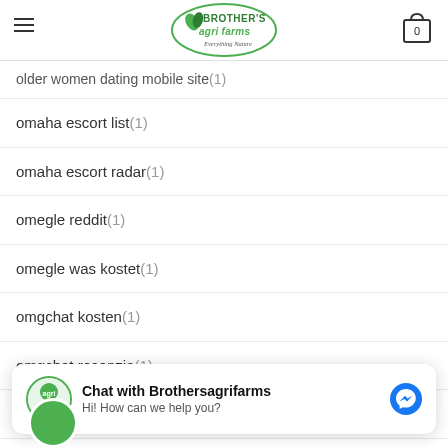BROTHER'S agri farms - Everything Nature
older women dating mobile site (1)
omaha escort list (1)
omaha escort radar (1)
omegle reddit (1)
omegle was kostet (1)
omgchat kosten (1)
omgchat recenzje (1)
omgchat-recenze PЕ™ihГЎsit se (1)
Chat with Brothersagrifarms
Hi! How can we help you?